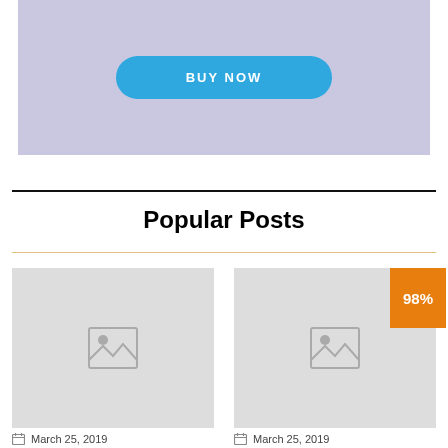[Figure (other): Advertisement banner with lavender/purple background containing a blue 'BUY NOW' pill-shaped button]
Popular Posts
[Figure (photo): Left post thumbnail placeholder image (gray background with image icon)]
[Figure (photo): Right post thumbnail placeholder image (gray background with image icon) with an orange '98%' badge in the top-right corner]
March 25, 2019
March 25, 2019